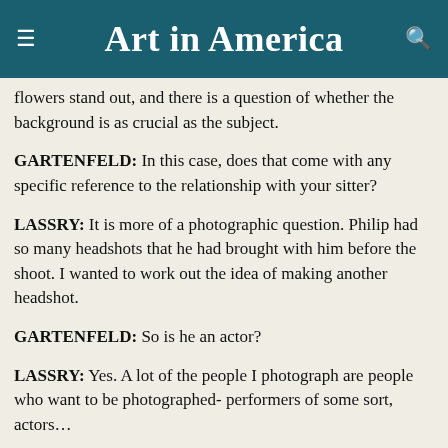Art in America
flowers stand out, and there is a question of whether the background is as crucial as the subject.
GARTENFELD: In this case, does that come with any specific reference to the relationship with your sitter?
LASSRY: It is more of a photographic question. Philip had so many headshots that he had brought with him before the shoot. I wanted to work out the idea of making another headshot.
GARTENFELD: So is he an actor?
LASSRY: Yes. A lot of the people I photograph are people who want to be photographed- performers of some sort, actors…
GARTENFELD: Do you think of your subject then as